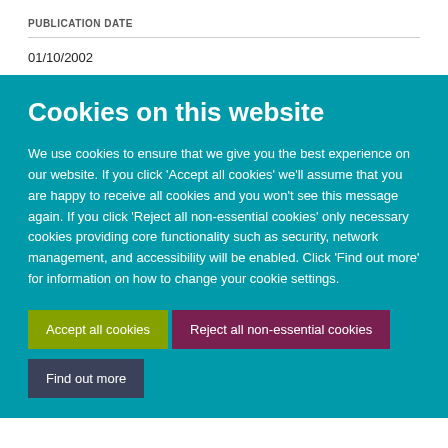PUBLICATION DATE
01/10/2002
Cookies on this website
We use cookies to ensure that we give you the best experience on our website. If you click 'Accept all cookies' we'll assume that you are happy to receive all cookies and you won't see this message again. If you click 'Reject all non-essential cookies' only necessary cookies providing core functionality such as security, network management, and accessibility will be enabled. Click 'Find out more' for information on how to change your cookie settings.
Accept all cookies
Reject all non-essential cookies
Find out more